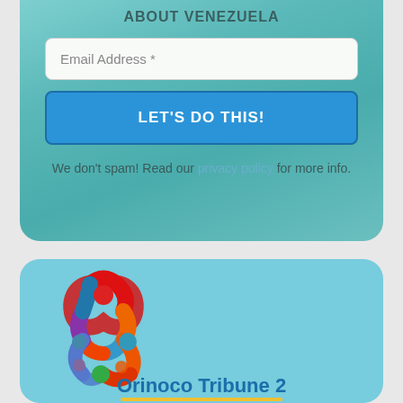ABOUT VENEZUELA
Email Address *
LET'S DO THIS!
We don't spam! Read our privacy policy for more info.
[Figure (logo): Orinoco Tribune logo: three interlocking circular arcs with colorful dots forming a trefoil/clover shape in red, blue, orange, green, purple, and teal colors]
Orinoco Tribune 2